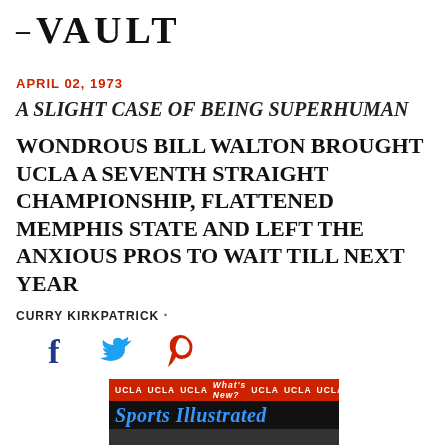– VAULT
APRIL 02, 1973
A SLIGHT CASE OF BEING SUPERHUMAN
WONDROUS BILL WALTON BROUGHT UCLA A SEVENTH STRAIGHT CHAMPIONSHIP, FLATTENED MEMPHIS STATE AND LEFT THE ANXIOUS PROS TO WAIT TILL NEXT YEAR
CURRY KIRKPATRICK ·
[Figure (photo): Sports Illustrated magazine cover with UCLA branding banner at top in red, Sports Illustrated title in blue on black background.]